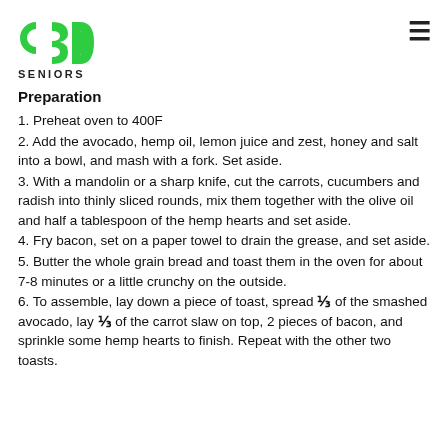[Figure (logo): CBD Seniors logo with green CBD text and SENIORS wordmark below]
Preparation
1. Preheat oven to 400F
2. Add the avocado, hemp oil, lemon juice and zest, honey and salt into a bowl, and mash with a fork. Set aside.
3. With a mandolin or a sharp knife, cut the carrots, cucumbers and radish into thinly sliced rounds, mix them together with the olive oil and half a tablespoon of the hemp hearts and set aside.
4. Fry bacon, set on a paper towel to drain the grease, and set aside.
5. Butter the whole grain bread and toast them in the oven for about 7-8 minutes or a little crunchy on the outside.
6. To assemble, lay down a piece of toast, spread ⅓ of the smashed avocado, lay ⅓ of the carrot slaw on top, 2 pieces of bacon, and sprinkle some hemp hearts to finish. Repeat with the other two toasts.